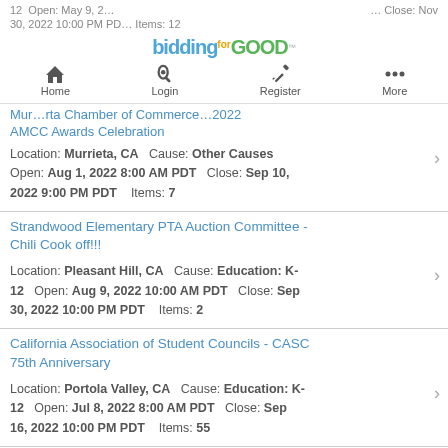biddingforGOOD — Home | Login | Register | More
12  Open: May 9, 2022  Close: Nov 30, 2022 10:00 PM PDT Items: 12
Murrieta Chamber of Commerce - 2022 AMCC Awards Celebration
Location: Murrieta, CA  Cause: Other Causes  Open: Aug 1, 2022 8:00 AM PDT  Close: Sep 10, 2022 9:00 PM PDT  Items: 7
Strandwood Elementary PTA Auction Committee - Chili Cook off!!!
Location: Pleasant Hill, CA  Cause: Education: K-12  Open: Aug 9, 2022 10:00 AM PDT  Close: Sep 30, 2022 10:00 PM PDT  Items: 2
California Association of Student Councils - CASC 75th Anniversary
Location: Portola Valley, CA  Cause: Education: K-12  Open: Jul 8, 2022 8:00 AM PDT  Close: Sep 16, 2022 10:00 PM PDT  Items: 55
Del Mar Solana Beach Rotary club - LobsterFest